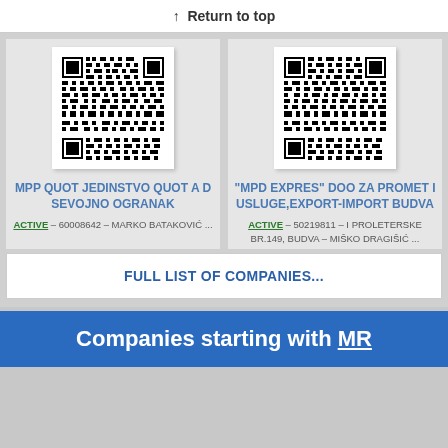↑ Return to top
[Figure (other): QR code for MPP QUOT JEDINSTVO QUOT A D SVOJNO OGRANAK]
MPP QUOT JEDINSTVO QUOT A D SVOJNO OGRANAK
ACTIVE – 60008642 – MARKO BATAKOVIĆ ...
[Figure (other): QR code for MPD EXPRES DOO ZA PROMET I USLUGE, EXPORT-IMPORT BUDVA]
"MPD EXPRES" DOO ZA PROMET I USLUGE,EXPORT-IMPORT BUDVA
ACTIVE – 50219811 – I PROLETERSKE BR.149, BUDVA – MIŠKO DRAGIŠIĆ ...
FULL LIST OF COMPANIES...
Companies starting with MR